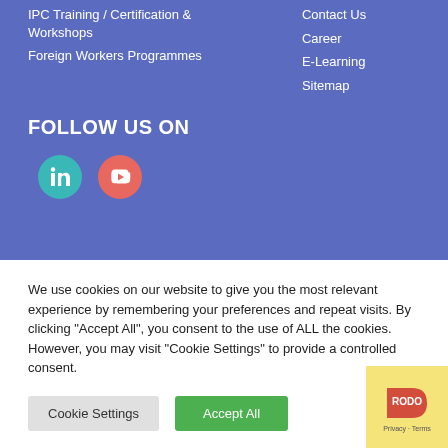IPC Training / Certification & Workshops
Foreign Workers Programmes
Contact Us
Career
E-Learning
Sitemap
FOLLOW US ON
[Figure (infographic): LinkedIn and YouTube social media icons as colored circles]
We use cookies on our website to give you the most relevant experience by remembering your preferences and repeat visits. By clicking “Accept All”, you consent to the use of ALL the cookies. However, you may visit “Cookie Settings” to provide a controlled consent.
Cookie Settings | Accept All